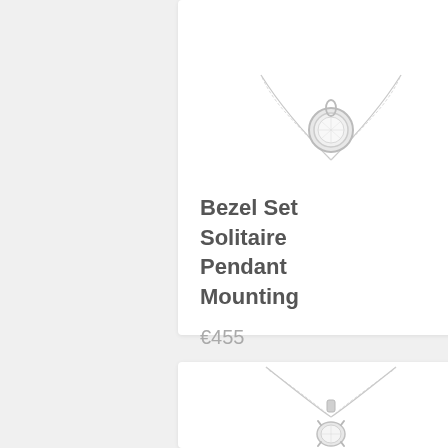[Figure (photo): Bezel set solitaire diamond pendant necklace on a delicate chain, shown on white background]
Bezel Set Solitaire Pendant Mounting
€455
[Figure (photo): Four-prong solitaire diamond pendant necklace on a delicate chain, shown on white background]